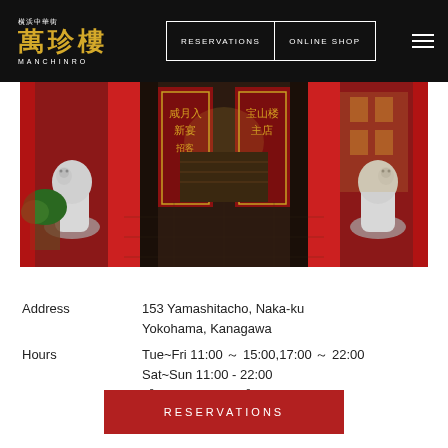横浜中華街 萬珍樓 MANCHINRO | RESERVATIONS | ONLINE SHOP
[Figure (photo): Entrance of Manchinro restaurant in Yokohama Chinatown, featuring red pillars, Chinese lanterns, golden calligraphy panels, and white stone lion statues flanking the entrance.]
Address   153 Yamashitacho, Naka-ku
Yokohama, Kanagawa
Hours   Tue~Fri 11:00 ～ 15:00,17:00 ～ 22:00
Sat~Sun 11:00 - 22:00
【Closed Monday】
RESERVATIONS